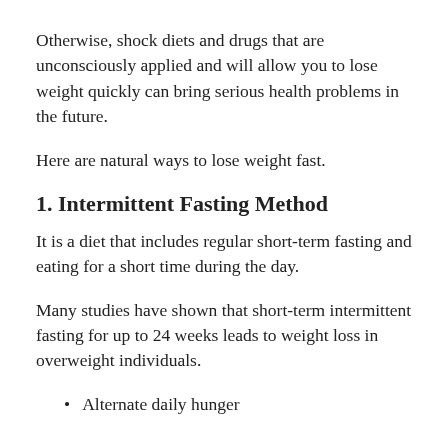Otherwise, shock diets and drugs that are unconsciously applied and will allow you to lose weight quickly can bring serious health problems in the future.
Here are natural ways to lose weight fast.
1. Intermittent Fasting Method
It is a diet that includes regular short-term fasting and eating for a short time during the day.
Many studies have shown that short-term intermittent fasting for up to 24 weeks leads to weight loss in overweight individuals.
Alternate daily hunger